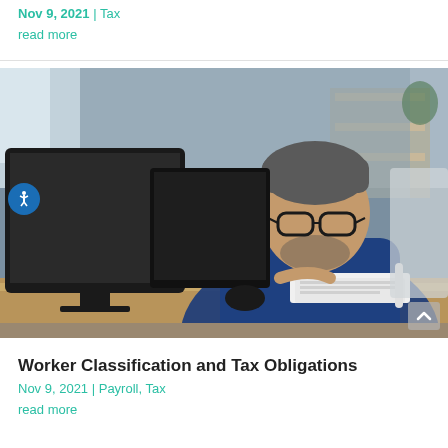Nov 9, 2021 | Tax
read more
[Figure (photo): Middle-aged man with glasses and dark beard sitting at a desk with computer monitors, reviewing documents in an office setting]
Worker Classification and Tax Obligations
Nov 9, 2021 | Payroll, Tax
read more